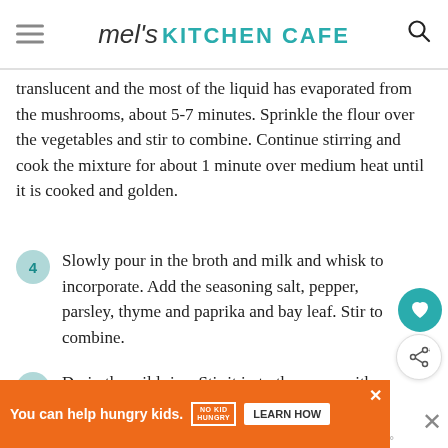mel's KITCHEN CAFE
translucent and the most of the liquid has evaporated from the mushrooms, about 5-7 minutes. Sprinkle the flour over the vegetables and stir to combine. Continue stirring and cook the mixture for about 1 minute over medium heat until it is cooked and golden.
4 Slowly pour in the broth and milk and whisk to incorporate. Add the seasoning salt, pepper, parsley, thyme and paprika and bay leaf. Stir to combine.
5 Drain the wild rice. Stir it in to the sauce with the browned hamburger. Transfer the mixture to a lightly greased 9X13-inch baking dish.
You can help hungry kids. NO KID HUNGRY LEARN HOW